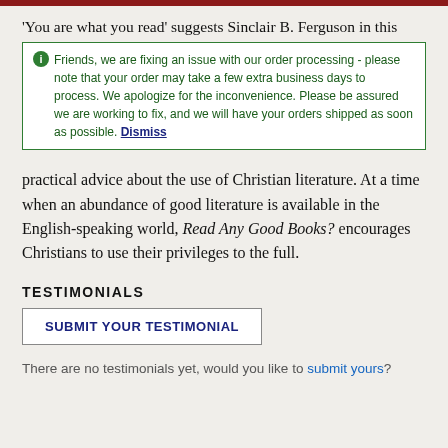'You are what you read' suggests Sinclair B. Ferguson in this booklet about reading and using Christian books. The booklet considers the role of books in Christian life and discusses the kind of books we should read and gives practical advice about the use of Christian literature. At a time when an abundance of good literature is available in the English-speaking world, Read Any Good Books? encourages Christians to use their privileges to the full.
Friends, we are fixing an issue with our order processing - please note that your order may take a few extra business days to process. We apologize for the inconvenience. Please be assured we are working to fix, and we will have your orders shipped as soon as possible. Dismiss
TESTIMONIALS
SUBMIT YOUR TESTIMONIAL
There are no testimonials yet, would you like to submit yours?